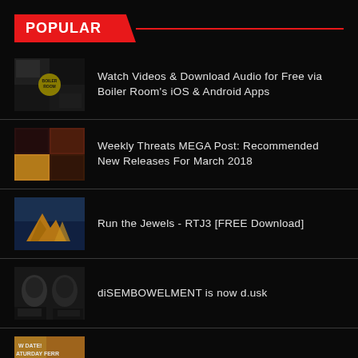POPULAR
Watch Videos & Download Audio for Free via Boiler Room's iOS & Android Apps
Weekly Threats MEGA Post: Recommended New Releases For March 2018
Run the Jewels - RTJ3 [FREE Download]
diSEMBOWELMENT is now d.usk
MOS DEFinitely not DOOM (Show Review)